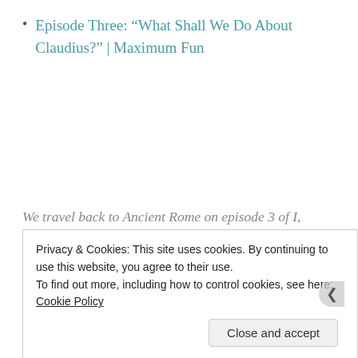Episode Three: “What Shall We Do About Claudius?” | Maximum Fun
We travel back to Ancient Rome on episode 3 of I, Podius. On this episode, hosts John Hodgman and Elliott Kalan recap episode three of I, Claudius, “What Shall We Do About Claudius.” We’re
Privacy & Cookies: This site uses cookies. By continuing to use this website, you agree to their use.
To find out more, including how to control cookies, see here: Cookie Policy
Close and accept